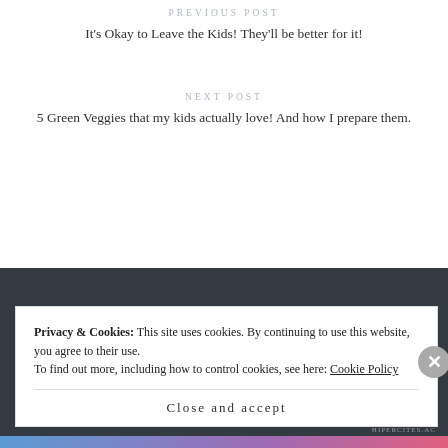PREVIOUS POST
It's Okay to Leave the Kids! They'll be better for it!
NEXT POST
5 Green Veggies that my kids actually love! And how I prepare them.
Privacy & Cookies: This site uses cookies. By continuing to use this website, you agree to their use.
To find out more, including how to control cookies, see here: Cookie Policy
Close and accept